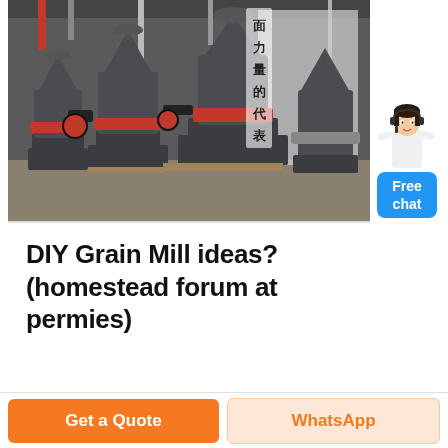[Figure (photo): Industrial factory floor with large grey and red cone crusher machines lined up, with red accents. Chinese text banner visible on right side of image reading 面力量的代表. Background shows factory ceiling with red structural beams.]
DIY Grain Mill ideas? (homestead forum at permies)
[Figure (illustration): Customer service representative in white coat with blue chat bubble showing 'Free chat']
Get a Quote
WhatsApp